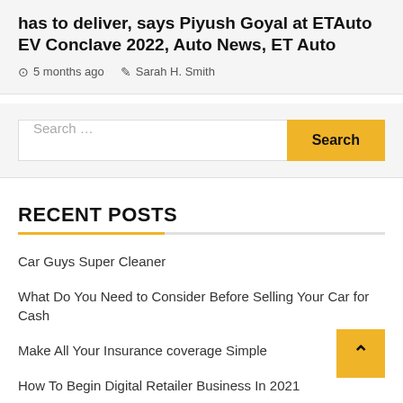has to deliver, says Piyush Goyal at ETAuto EV Conclave 2022, Auto News, ET Auto
5 months ago   Sarah H. Smith
Search ...
RECENT POSTS
Car Guys Super Cleaner
What Do You Need to Consider Before Selling Your Car for Cash
Make All Your Insurance coverage Simple
How To Begin Digital Retailer Business In 2021
Best Sorts Of Vehicles